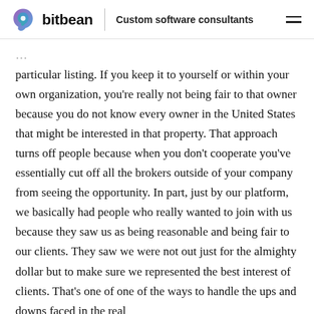bitbean | Custom software consultants
particular listing. If you keep it to yourself or within your own organization, you're really not being fair to that owner because you do not know every owner in the United States that might be interested in that property. That approach turns off people because when you don't cooperate you've essentially cut off all the brokers outside of your company from seeing the opportunity. In part, just by our platform, we basically had people who really wanted to join with us because they saw us as being reasonable and being fair to our clients. They saw we were not out just for the almighty dollar but to make sure we represented the best interest of clients. That's one of one of the ways to handle the ups and downs faced in the real